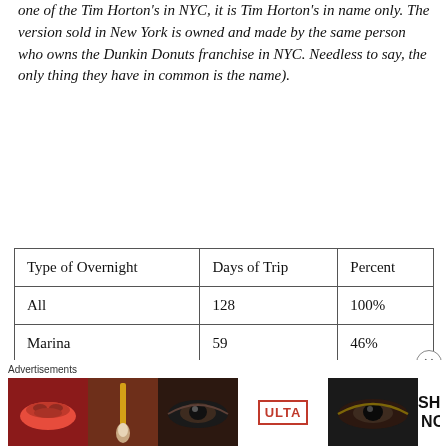one of the Tim Horton's in NYC, it is Tim Horton's in name only. The version sold in New York is owned and made by the same person who owns the Dunkin Donuts franchise in NYC.  Needless to say, the only thing they have in common is the name).
| Type of Overnight | Days of Trip | Percent |
| --- | --- | --- |
| All | 128 | 100% |
| Marina | 59 | 46% |
| Dock or wall | 32 | 25% |
[Figure (other): Ulta Beauty advertisement banner with makeup imagery (lips, brush, eyes) and 'SHOP NOW' call to action]